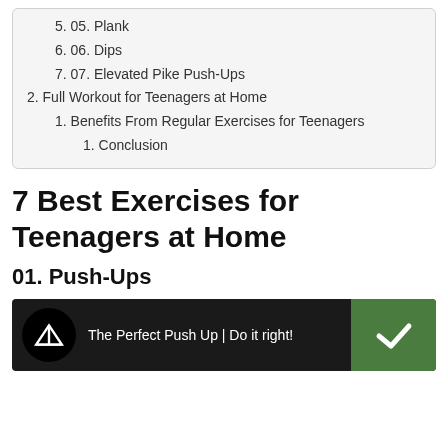5. 05. Plank
6. 06. Dips
7. 07. Elevated Pike Push-Ups
2. Full Workout for Teenagers at Home
1. Benefits From Regular Exercises for Teenagers
1. Conclusion
7 Best Exercises for Teenagers at Home
01. Push-Ups
[Figure (screenshot): Video thumbnail showing 'The Perfect Push Up | Do it right!' with a logo and a green checkmark thumbnail on the right side]